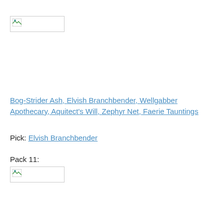[Figure (other): Broken image placeholder (pack image) at top of page]
Bog-Strider Ash, Elvish Branchbender, Wellgabber Apothecary, Aquitect's Will, Zephyr Net, Faerie Tauntings
Pick: Elvish Branchbender
Pack 11:
[Figure (other): Broken image placeholder (pack image) below Pack 11 label]